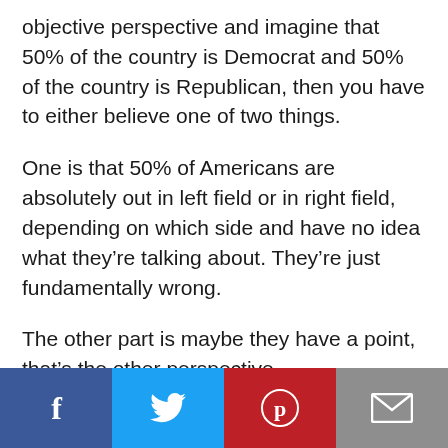objective perspective and imagine that 50% of the country is Democrat and 50% of the country is Republican, then you have to either believe one of two things.
One is that 50% of Americans are absolutely out in left field or in right field, depending on which side and have no idea what they're talking about. They're just fundamentally wrong.
The other part is maybe they have a point, that's the other perspective.
[Figure (infographic): Social sharing bar with four buttons: Facebook (dark blue), Twitter (light blue), Pinterest (red), Email (gray)]